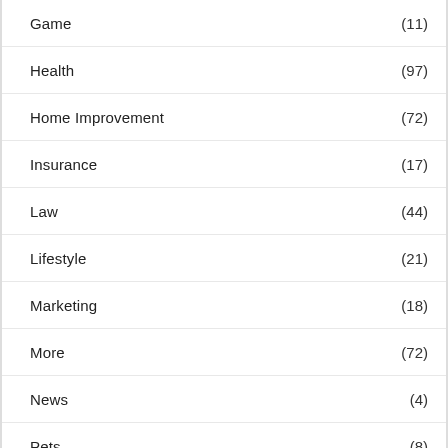Game (11)
Health (97)
Home Improvement (72)
Insurance (17)
Law (44)
Lifestyle (21)
Marketing (18)
More (72)
News (4)
Pets (8)
Real Estate (24)
SEO
Software (4)
Sports (3)
Tech (11)